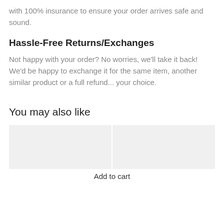with 100% insurance to ensure your order arrives safe and sound.
Hassle-Free Returns/Exchanges
Not happy with your order? No worries, we'll take it back! We'd be happy to exchange it for the same item, another similar product or a full refund... your choice.
You may also like
[Figure (other): Two product image placeholders side by side, light gray background boxes]
Add to cart